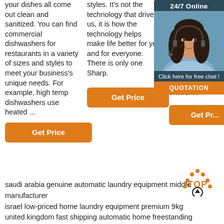your dishes all come out clean and sanitized. You can find commercial dishwashers for restaurants in a variety of sizes and styles to meet your business's unique needs. For example, high temp dishwashers use heated ...
styles. It's not the technology that drives us, it is how the technology helps make life better for you and for everyone. There is only one Sharp.
powder, low dust content, low ion content, no plasticizer, ester, silicone oil, etc.. strong chemical resistance, flexibility easy to w... Anti-static properties used in anti-static environm...
[Figure (photo): Customer service representative with headset, 24/7 Online chat widget overlay with dark blue background and orange QUOTATION button]
Get Price
Get Price
Get Pr...
saudi arabia genuine automatic laundry equipment middle manufacturer
israel low-priced home laundry equipment premium 9kg
united kingdom fast shipping automatic home freestanding